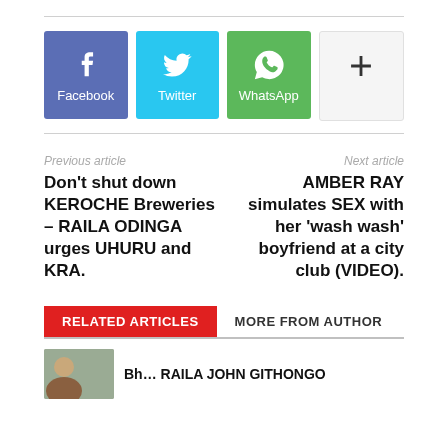[Figure (other): Social share buttons: Facebook (purple-blue), Twitter (sky blue), WhatsApp (green), and a more (+) button (light gray)]
Previous article
Next article
Don’t shut down KEROCHE Breweries – RAILA ODINGA urges UHURU and KRA.
AMBER RAY simulates SEX with her ‘wash wash’ boyfriend at a city club (VIDEO).
RELATED ARTICLES
MORE FROM AUTHOR